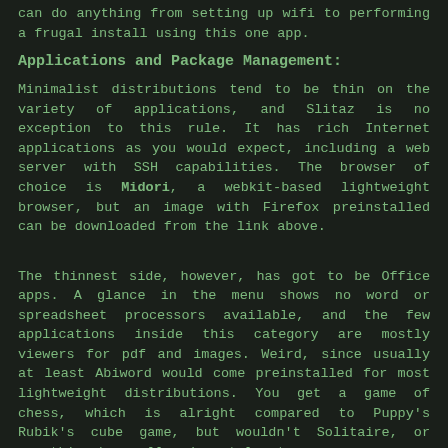can do anything from setting up wifi to performing a frugal install using this one app.
Applications and Package Management:
Minimalist distributions tend to be thin on the variety of applications, and Slitaz is no exception to this rule. It has rich Internet applications as you would expect, including a web server with SSH capabilities. The browser of choice is Midori, a webkit-based lightweight browser, but an image with Firefox preinstalled can be downloaded from the link above.
The thinnest side, however, has got to be Office apps. A glance in the menu shows no word or spreadsheet processors available, and the few applications inside this category are mostly viewers for pdf and images. Weird, since usually at least Abiword would come preinstalled for most lightweight distributions. You get a game of chess, which is alright compared to Puppy's Rubik's cube game, but wouldn't Solitaire, or something be smaller (or at least